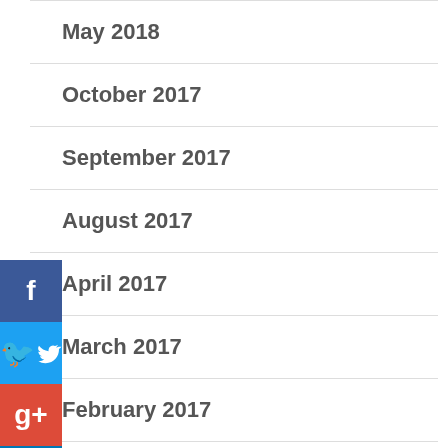May 2018
October 2017
September 2017
August 2017
April 2017
March 2017
February 2017
January 2017
December 2016
November 2016
October 2016
[Figure (infographic): Social share sidebar with Facebook (dark blue), Twitter (light blue), Google+ (red), LinkedIn (blue), Pinterest (dark red) buttons stacked vertically on the left edge, plus a left-pointing arrow collapse button below.]